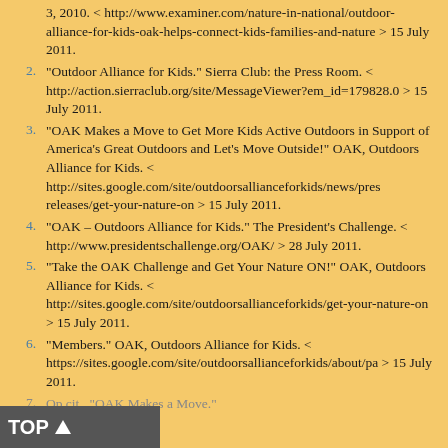3, 2010. < http://www.examiner.com/nature-in-national/outdoor-alliance-for-kids-oak-helps-connect-kids-families-and-nature > 15 July 2011.
2. "Outdoor Alliance for Kids." Sierra Club: the Press Room. < http://action.sierraclub.org/site/MessageViewer?em_id=179828.0 > 15 July 2011.
3. "OAK Makes a Move to Get More Kids Active Outdoors in Support of America's Great Outdoors and Let's Move Outside!" OAK, Outdoors Alliance for Kids. < http://sites.google.com/site/outdoorsallianceforkids/news/press-releases/get-your-nature-on > 15 July 2011.
4. "OAK – Outdoors Alliance for Kids." The President's Challenge. < http://www.presidentschallenge.org/OAK/ > 28 July 2011.
5. "Take the OAK Challenge and Get Your Nature ON!" OAK, Outdoors Alliance for Kids. < http://sites.google.com/site/outdoorsallianceforkids/get-your-nature-on > 15 July 2011.
6. "Members." OAK, Outdoors Alliance for Kids. < https://sites.google.com/site/outdoorsallianceforkids/about/pa > 15 July 2011.
7. Op.cit., "OAK Makes a Move."
8. Op.cit., Franz.